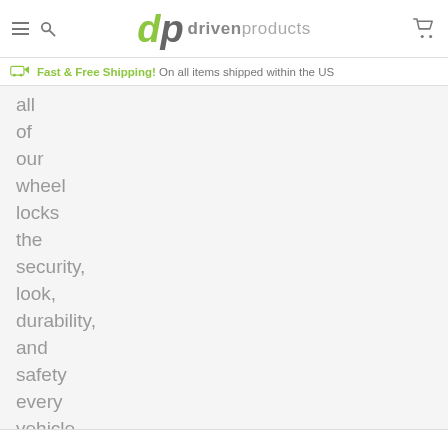dp drivenproducts [navigation header with hamburger, search, cart icons]
Fast & Free Shipping! On all items shipped within the US
all of our wheel locks the security, look, durability, and safety every vehicle deserves.